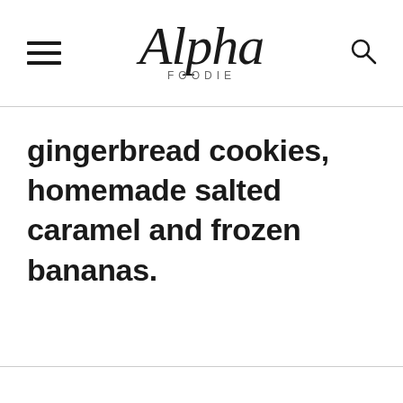Alpha Foodie
gingerbread cookies, homemade salted caramel and frozen bananas.